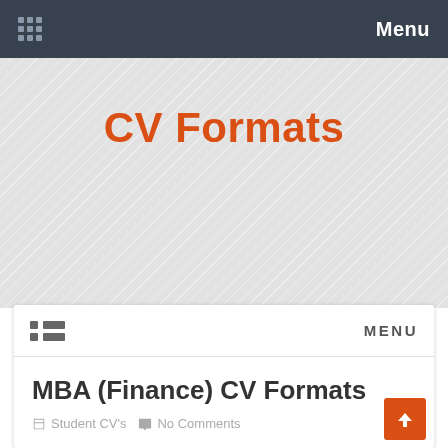Menu
CV Formats
MENU
MBA (Finance) CV Formats
Student CV's   No Comments